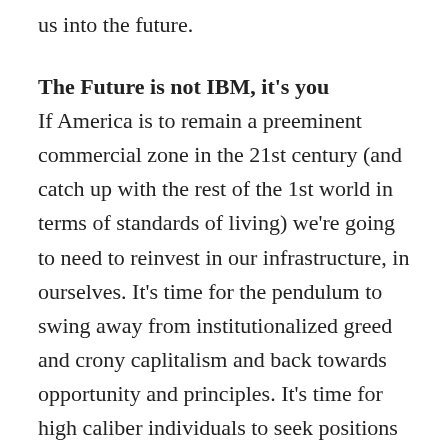us into the future.
The Future is not IBM, it's you
If America is to remain a preeminent commercial zone in the 21st century (and catch up with the rest of the 1st world in terms of standards of living) we're going to need to reinvest in our infrastructure, in ourselves. It's time for the pendulum to swing away from institutionalized greed and crony caplitalism and back towards opportunity and principles. It's time for high caliber individuals to seek positions of leadership under a new movement for improvement, for the betterment of ourselves, our communities, our nation and the world we share. it's time to be...